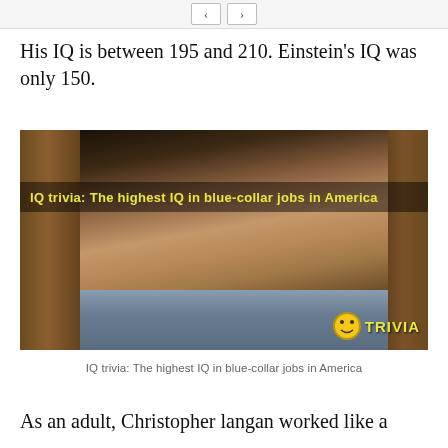< >
His IQ is between 195 and 210. Einstein’s IQ was only 150.
[Figure (photo): A man with a mustache photographed indoors against a wooden door background. Overlay text reads: IQ trivia: The highest IQ in blue-collar jobs in America. Bottom right has a trivia watermark logo.]
IQ trivia: The highest IQ in blue-collar jobs in America
As an adult, Christopher langan worked like a